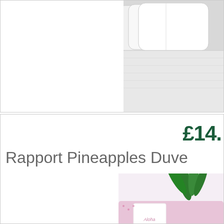[Figure (photo): Top product card showing white pillow/duvet product photo on the right side, white background on the left]
£14.
Rapport Pineapples Duve
[Figure (photo): Pineapples duvet cover product photo showing colorful pink, yellow, orange and red pineapples on white bedding with pink pillow, green plant in background]